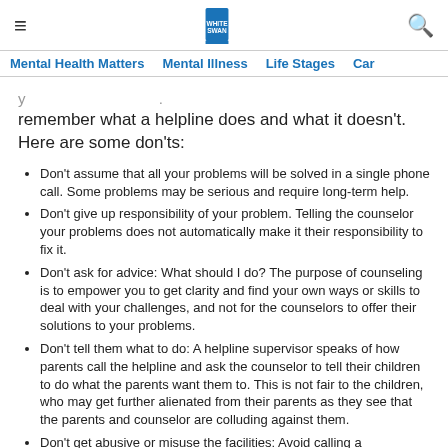≡  [White Swan Logo]  🔍
Mental Health Matters   Mental Illness   Life Stages   Car…
…remember what a helpline does and what it doesn't. Here are some don'ts:
Don't assume that all your problems will be solved in a single phone call. Some problems may be serious and require long-term help.
Don't give up responsibility of your problem. Telling the counselor your problems does not automatically make it their responsibility to fix it.
Don't ask for advice: What should I do? The purpose of counseling is to empower you to get clarity and find your own ways or skills to deal with your challenges, and not for the counselors to offer their solutions to your problems.
Don't tell them what to do: A helpline supervisor speaks of how parents call the helpline and ask the counselor to tell their children to do what the parents want them to. This is not fair to the children, who may get further alienated from their parents as they see that the parents and counselor are colluding against them.
Don't get abusive or misuse the facilities: Avoid calling a…